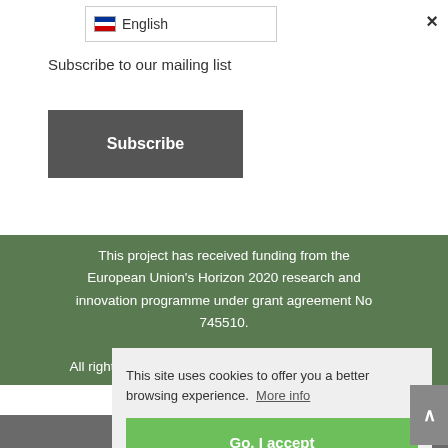en English
Subscribe to our mailing list
Subscribe
This project has received funding from the European Union's Horizon 2020 research and innovation programme under grant agreement No 745510.
All rights reserved. Any duplication or use of objects
This site uses cookies to offer you a better browsing experience. More info
Go, I accept
Share This
×